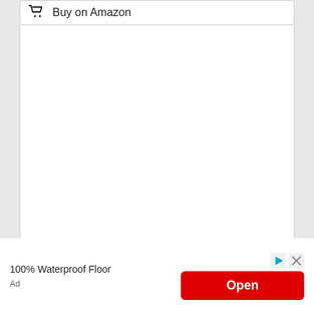Buy on Amazon
[Figure (screenshot): White blank content area below the Buy on Amazon button]
Our take – Best glue for fixing glasses
100% Waterproof Floor
Ad
Open